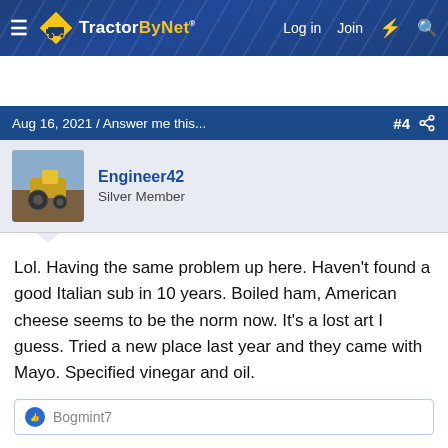TractorByNet — Log in  Join
Aug 16, 2021 / Answer me this...  #4
Engineer42
Silver Member
Lol. Having the same problem up here. Haven't found a good Italian sub in 10 years. Boiled ham, American cheese seems to be the norm now. It's a lost art I guess. Tried a new place last year and they came with Mayo. Specified vinegar and oil.
Bogmint7